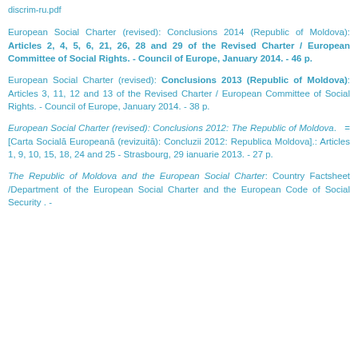discrim-ru.pdf
European Social Charter (revised): Conclusions 2014 (Republic of Moldova): Articles 2, 4, 5, 6, 21, 26, 28 and 29 of the Revised Charter / European Committee of Social Rights. - Council of Europe, January 2014. - 46 p.
European Social Charter (revised): Conclusions 2013 (Republic of Moldova): Articles 3, 11, 12 and 13 of the Revised Charter / European Committee of Social Rights. - Council of Europe, January 2014. - 38 p.
European Social Charter (revised): Conclusions 2012: The Republic of Moldova. = [Carta Socială Europeană (revizuită): Concluzii 2012: Republica Moldova].: Articles 1, 9, 10, 15, 18, 24 and 25 - Strasbourg, 29 ianuarie 2013. - 27 p.
The Republic of Moldova and the European Social Charter: Country Factsheet /Department of the European Social Charter and the European Code of Social Security . -